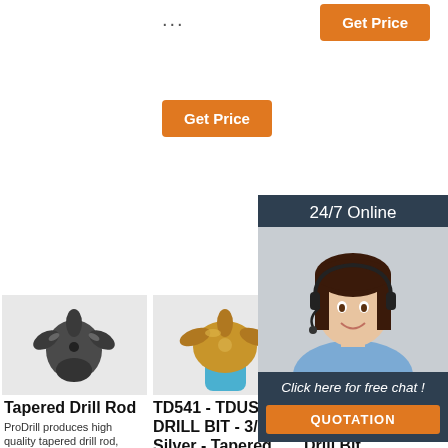...
[Figure (other): Orange 'Get Price' button (top right)]
[Figure (other): Orange 'Get Price' button (middle)]
[Figure (photo): Tapered Drill Rod product photo - dark metal drill bit on white background]
[Figure (photo): TD541 drill bit product photo - gold/copper colored drill bit with blue holder on white background]
[Figure (photo): 24/7 Online chat widget with woman wearing headset, 'Click here for free chat!' and QUOTATION button]
Tapered Drill Rod
ProDrill produces high quality tapered drill rod, tapered drill steel, s...
TD541 - TDUSA DRILL BIT - 3/32 - Silver - Tapered Drill
...
Qu... Drill Bit & Tapered Drill Bit Factory From China
T45 T51 Retro...